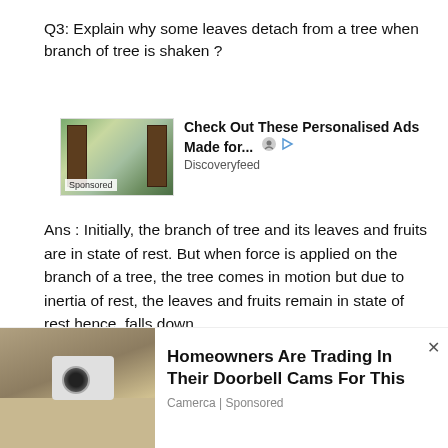Q3: Explain why some leaves detach from a tree when branch of tree is shaken ?
[Figure (other): Advertisement: Check Out These Personalised Ads Made for... - Discoveryfeed (Sponsored)]
Ans : Initially, the branch of tree and its leaves and fruits are in state of rest. But when force is applied on the branch of a tree, the tree comes in motion but due to inertia of rest, the leaves and fruits remain in state of rest hence, falls down.
Q4: Why do you fall in forward direction when bus
[Figure (other): Advertisement: Homeowners Are Trading In Their Doorbell Cams For This - Camerca | Sponsored]